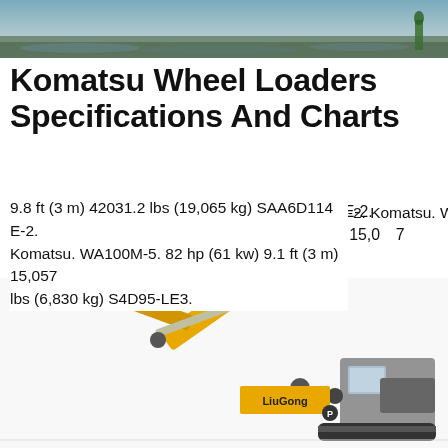[Figure (photo): Top banner image showing muddy water or excavation scene with green plant/worker in background]
Komatsu Wheel Loaders Specifications And Charts
9.8 ft (3 m) 42031.2 lbs (19,065 kg) SAA6D114 E-2. Komatsu. WA100M-5. 82 hp (61 kw) 9.1 ft (3 m) 15,057 lbs (6,830 kg) S4D95-LE3.
Get a Quote
[Figure (photo): LiuGong yellow excavator shown from side angle with boom arm extended upward]